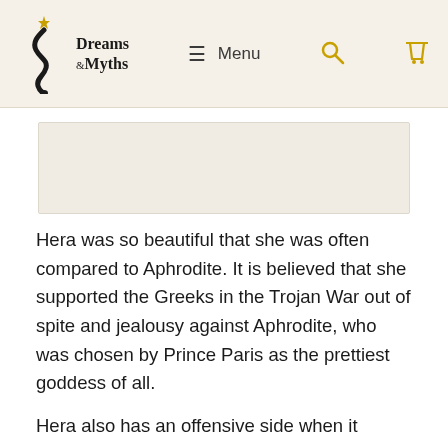Dreams & Myths — Menu
[Figure (other): Placeholder image area, light beige/grey rectangle]
Hera was so beautiful that she was often compared to Aphrodite. It is believed that she supported the Greeks in the Trojan War out of spite and jealousy against Aphrodite, who was chosen by Prince Paris as the prettiest goddess of all.
Hera also has an offensive side when it comes to her relationship with Zeus. She